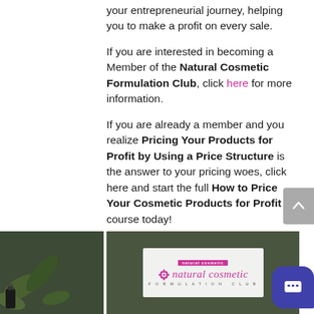your entrepreneurial journey, helping you to make a profit on every sale.
If you are interested in becoming a Member of the Natural Cosmetic Formulation Club, click here for more information.
If you are already a member and you realize Pricing Your Products for Profit by Using a Price Structure is the answer to your pricing woes, click here and start the full How to Price Your Cosmetic Products for Profit course today!
[Figure (logo): Natural Cosmetic Formulation Club logo with pink flower/asterisk icon and italic text on white background, with small pink brand tag above]